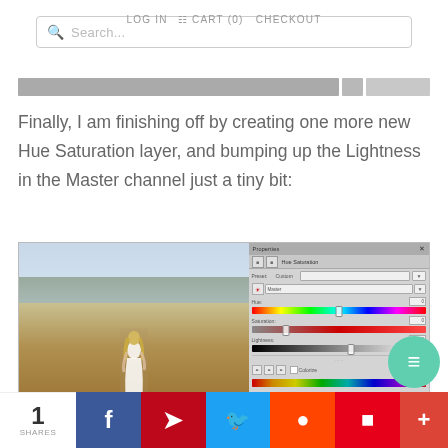[Figure (screenshot): Website header with search bar, LOG IN, CART (0), CHECKOUT navigation, and a progress bar]
Finally, I am finishing off by creating one more new Hue Saturation layer, and bumping up the Lightness in the Master channel just a tiny bit:
[Figure (screenshot): Photoshop screenshot showing a woman in a white dress standing in a golden field, with a Hue/Saturation properties panel showing rainbow color bars and sliders on the right]
[Figure (infographic): Social share bar showing 1 SHARES with Facebook, Pinterest, Twitter, Reddit, Flipboard, and plus share buttons]